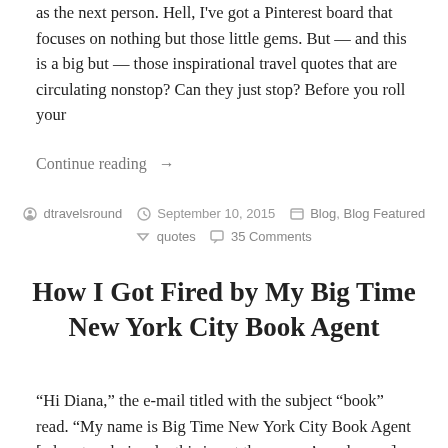as the next person. Hell, I've got a Pinterest board that focuses on nothing but those little gems. But — and this is a big but — those inspirational travel quotes that are circulating nonstop? Can they just stop? Before you roll your
Continue reading →
Posted by dtravelsround  September 10, 2015  Blog, Blog Featured  quotes  35 Comments
How I Got Fired by My Big Time New York City Book Agent
"Hi Diana," the e-mail titled with the subject "book" read. "My name is Big Time New York City Book Agent [ed. note: obviously, this is not the person's real name] and I am the Big Time Person at the Big Time